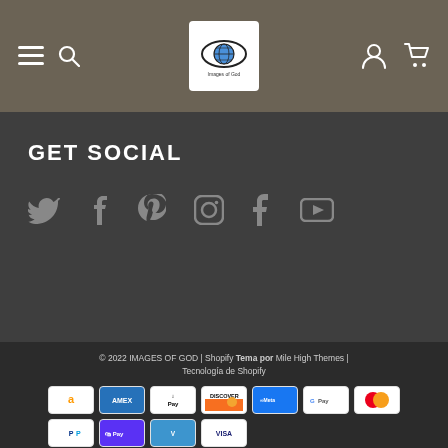[Figure (screenshot): Website header navigation bar with hamburger menu, search icon, Images of God logo, user account icon, and shopping cart icon on dark brown background]
GET SOCIAL
[Figure (illustration): Social media icons row: Twitter, Facebook, Pinterest, Instagram, Tumblr, YouTube]
© 2022 IMAGES OF GOD | Shopify Tema por Mile High Themes | Tecnología de Shopify
[Figure (illustration): Payment method icons: Amazon Pay, American Express, Apple Pay, Discover, Meta Pay, Google Pay, Mastercard, PayPal, Shop Pay, Venmo, Visa]